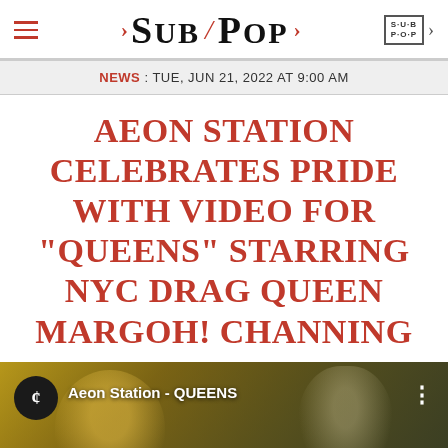SUB / POP
NEWS : TUE, JUN 21, 2022 AT 9:00 AM
AEON STATION CELEBRATES PRIDE WITH VIDEO FOR “QUEENS” STARRING NYC DRAG QUEEN MARGOH! CHANNING
[Figure (screenshot): Video thumbnail for Aeon Station - QUEENS showing two figures in warm golden and green tones, with channel icon and title overlay]